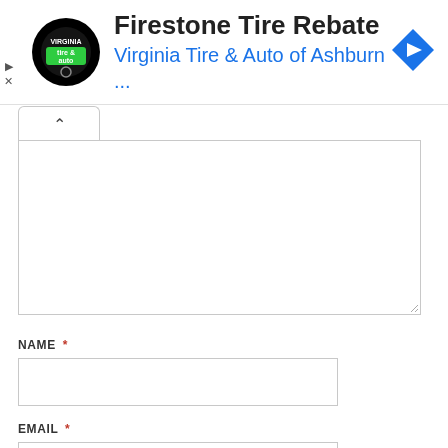[Figure (screenshot): Advertisement banner for Firestone Tire Rebate from Virginia Tire & Auto of Ashburn, featuring a circular black logo with 'tire & auto' text, ad title 'Firestone Tire Rebate', subtitle 'Virginia Tire & Auto of Ashburn ...', a blue diamond navigation icon, and ad control icons (play and close).]
[Figure (screenshot): Web page section showing a collapsible panel with an upward caret tab, a large empty textarea with a resize handle, a NAME required field with an empty text input, and an EMAIL required field with an empty text input.]